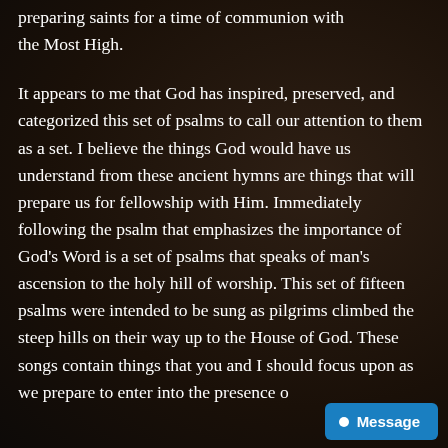preparing saints for a time of communion with the Most High.
It appears to me that God has inspired, preserved, and categorized this set of psalms to call our attention to them as a set. I believe the things God would have us understand from these ancient hymns are things that will prepare us for fellowship with Him. Immediately following the psalm that emphasizes the importance of God's Word is a set of psalms that speaks of man's ascension to the holy hill of worship. This set of fifteen psalms were intended to be sung as pilgrims climbed the steep hills on their way up to the House of God. These songs contain things that you and I should focus upon as we prepare to enter into the presence o